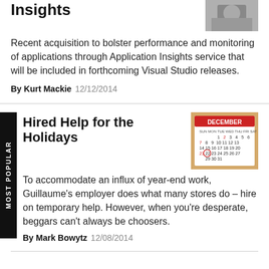Insights
[Figure (photo): Thumbnail image at top right, appears to show people or technology scene, partially visible]
Recent acquisition to bolster performance and monitoring of applications through Application Insights service that will be included in forthcoming Visual Studio releases.
By Kurt Mackie  12/12/2014
Hired Help for the Holidays
[Figure (photo): December calendar with date 22 circled in red]
To accommodate an influx of year-end work, Guillaume's employer does what many stores do – hire on temporary help. However, when you're desperate, beggars can't always be choosers.
By Mark Bowytz  12/08/2014